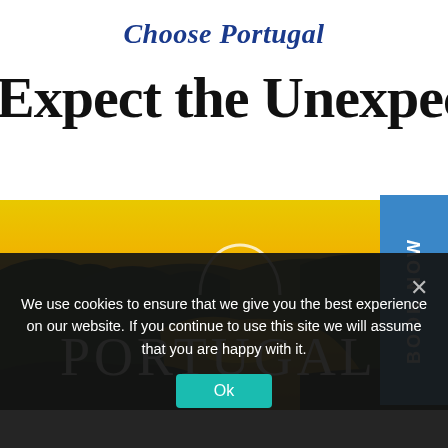Choose Portugal
Expect the Unexpected
[Figure (photo): Scenic landscape of Portugal showing terraced hillsides and a river at golden sunset with the PORTUGAL logo overlaid]
BOOK NOW
We use cookies to ensure that we give you the best experience on our website. If you continue to use this site we will assume that you are happy with it.
Ok